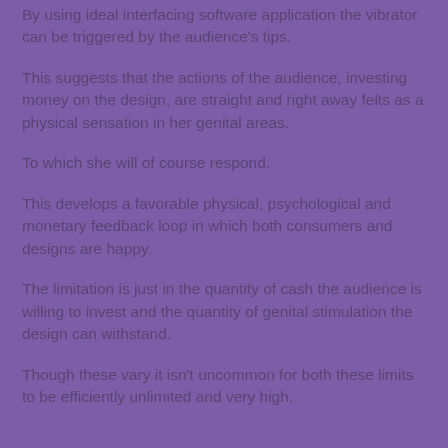By using ideal interfacing software application the vibrator can be triggered by the audience's tips.
This suggests that the actions of the audience, investing money on the design, are straight and right away felts as a physical sensation in her genital areas.
To which she will of course respond.
This develops a favorable physical, psychological and monetary feedback loop in which both consumers and designs are happy.
The limitation is just in the quantity of cash the audience is willing to invest and the quantity of genital stimulation the design can withstand.
Though these vary it isn't uncommon for both these limits to be efficiently unlimited and very high.